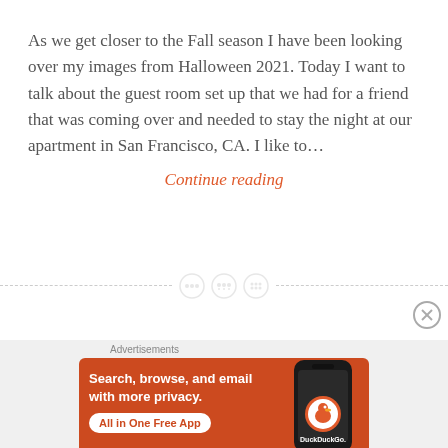As we get closer to the Fall season I have been looking over my images from Halloween 2021. Today I want to talk about the guest room set up that we had for a friend that was coming over and needed to stay the night at our apartment in San Francisco, CA. I like to... Continue reading
[Figure (other): Three decorative circular button/icon dividers on a dashed horizontal line]
[Figure (other): Close/dismiss button (X in circle) at right side]
Advertisements
[Figure (other): DuckDuckGo advertisement banner with orange background. Text: Search, browse, and email with more privacy. All in One Free App. Shows DuckDuckGo logo on a phone graphic.]